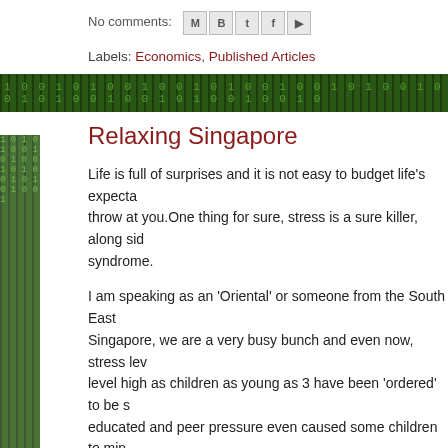No comments:
Labels: Economics, Published Articles
Relaxing Singapore
Life is full of surprises and it is not easy to budget life's expectations throw at you.One thing for sure, stress is a sure killer, along side syndrome.
I am speaking as an 'Oriental' or someone from the South East Singapore, we are a very busy bunch and even now, stress level high as children as young as 3 have been 'ordered' to be educated and peer pressure even caused some children to min Violence and Death. It is not just working 9 to 5 but it's more or ritual daily, rushing to get ready, for breakfast and to work and t
Back in my days, things are very much relaxed and slow paced even rush to grab a seat on the train or even on the buses that nowadays adding to the stress level.